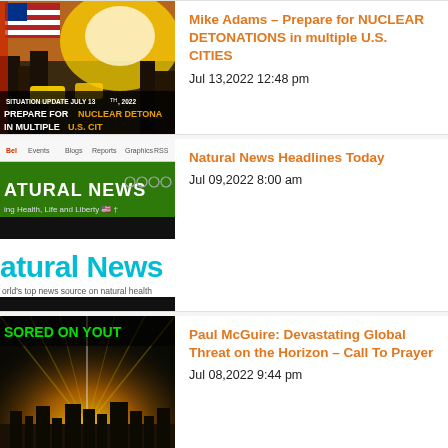[Figure (screenshot): Thumbnail for Mike Adams nuclear detonations article — city street with explosion/flash, US flag, text overlay: SITUATION UPDATE JULY 13TH, 2022 / PREPARE FOR NUCLEAR DETONATIONS / IN MULTIPLE U.S. CITIES]
Mike Adams – Prepare for NUCLEAR DETONATIONS in multiple U.S. CITIES
Jul 13,2022 12:48 pm
[Figure (screenshot): Thumbnail for Natural News Headlines Today — Natural News website screenshot showing green header with NATURAL NEWS logo, 'ing Health, Life and Liberty' and Natural News in cyan text, world's top news source on natural health]
Natural News Headlines Today
Jul 09,2022 8:00 am
[Figure (screenshot): Thumbnail for Paul McGuire article — dark image showing 'SORED ON YOUT' text (censored on YouTube) with city skyline and dramatic light rays]
Paul McGuire: Devastating Global Threat on the Horizon – Call To Prayer
Jul 08,2022 9:44 pm